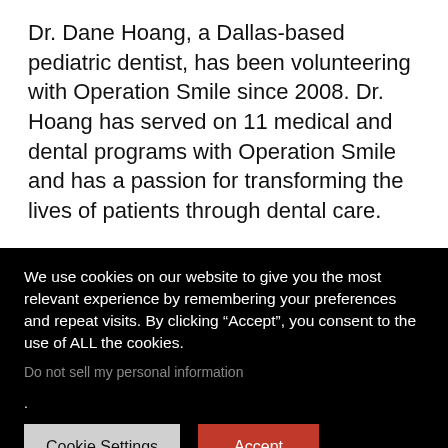Dr. Dane Hoang, a Dallas-based pediatric dentist, has been volunteering with Operation Smile since 2008. Dr. Hoang has served on 11 medical and dental programs with Operation Smile and has a passion for transforming the lives of patients through dental care.
“Dental care is particularly important for kids with a cleft lip or palate because they are at a higher risk
We use cookies on our website to give you the most relevant experience by remembering your preferences and repeat visits. By clicking “Accept”, you consent to the use of ALL the cookies.
Do not sell my personal information.
Cookie Settings
Accept